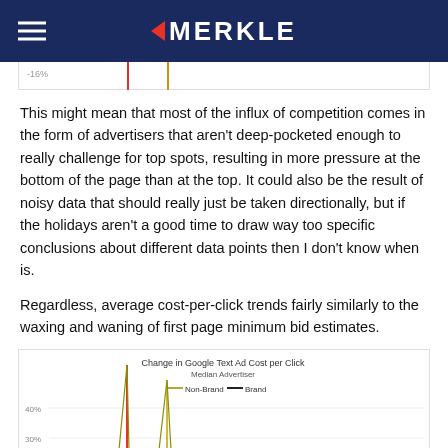MERKLE
[Figure (continuous-plot): Top portion of a line chart showing change data, with a red vertical line and an orange vertical line visible, and a y-axis label of -16%]
This might mean that most of the influx of competition comes in the form of advertisers that aren't deep-pocketed enough to really challenge for top spots, resulting in more pressure at the bottom of the page than at the top. It could also be the result of noisy data that should really just be taken directionally, but if the holidays aren't a good time to draw way too specific conclusions about different data points then I don't know when is.
Regardless, average cost-per-click trends fairly similarly to the waxing and waning of first page minimum bid estimates.
[Figure (continuous-plot): Bottom portion of a line chart titled 'Change in Google Text Ad Cost per Click, Median Advertiser' with legend showing Non-Brand (olive/yellow line) and Brand (dark line). Y-axis shows 40% and 30%. A red vertical spike and an orange/yellow spike are visible.]